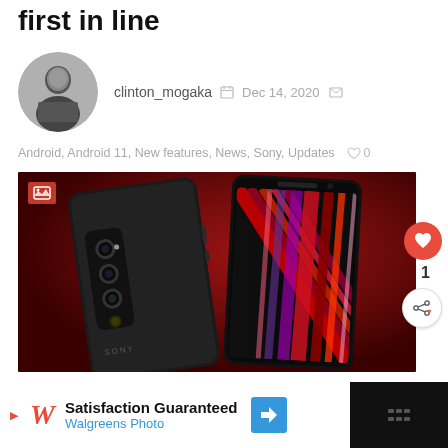first in line
clinton_mogaka  Dec 14, 2020
Android, Android 11, New features, News, Sony, Updates  ♡ 0
[Figure (photo): Sony Xperia smartphone shown from back and front on a dark red background]
Satisfaction Guaranteed
Walgreens Photo